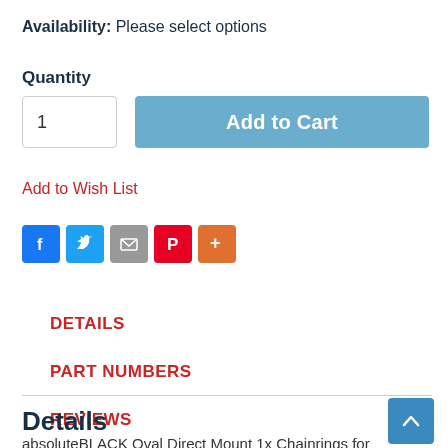Availability: Please select options
Quantity
1
Add to Cart
Add to Wish List
[Figure (other): Social sharing icons: Facebook, Twitter, Email, Pinterest, More]
DETAILS
PART NUMBERS
REVIEWS
Details
absoluteBLACK Oval Direct Mount 1x Chainrings for